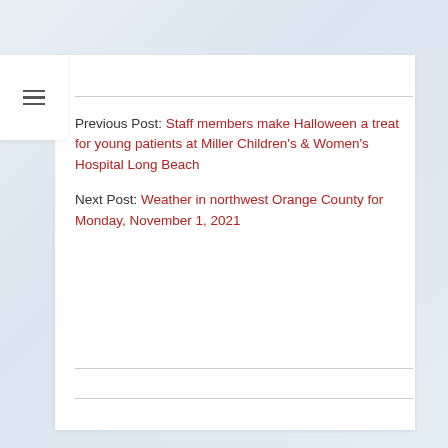Previous Post: Staff members make Halloween a treat for young patients at Miller Children's & Women's Hospital Long Beach
Next Post: Weather in northwest Orange County for Monday, November 1, 2021